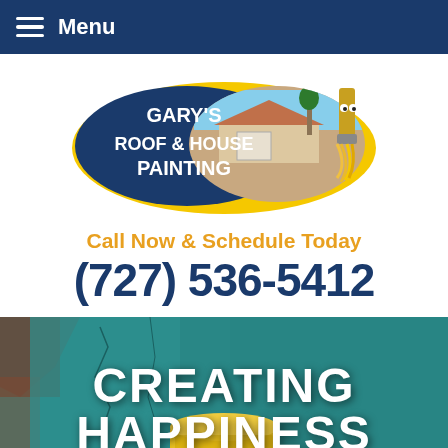Menu
[Figure (logo): Gary's Roof & House Painting oval logo with blue background, yellow border, white text, house photo, and paint brush mascot]
Call Now & Schedule Today
(727) 536-5412
[Figure (photo): Background photo of peeling teal/turquoise painted wall with a yellow paint can, showing 'CREATING HAPPINESS' text overlay]